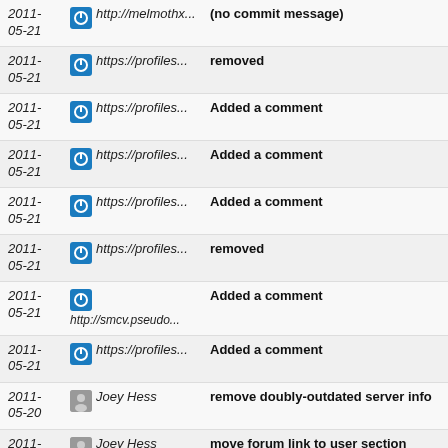2011-05-21 | http://melmothx... | (no commit message)
2011-05-21 | https://profiles... | removed
2011-05-21 | https://profiles... | Added a comment
2011-05-21 | https://profiles... | Added a comment
2011-05-21 | https://profiles... | Added a comment
2011-05-21 | https://profiles... | removed
2011-05-21 | http://smcv.pseudo... | Added a comment
2011-05-21 | https://profiles... | Added a comment
2011-05-20 | Joey Hess | remove doubly-outdated server info
2011-05-20 | Joey Hess | move forum link to user section
2011-05-20 | Joey Hess | clear sandbox/test commit
2011-05-20 | Joey Hess | document the setup branch
2011-05-20 | http://joey.kitene... | Added a comment
2011- | http://... | Added a comment